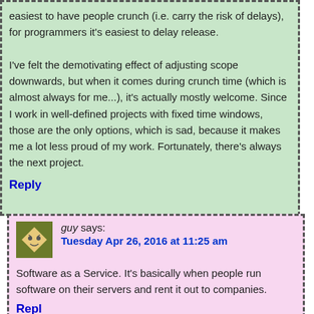easiest to have people crunch (i.e. carry the risk of delays), for programmers it's easiest to delay release.

I've felt the demotivating effect of adjusting scope downwards, but when it comes during crunch time (which is almost always for me...), it's actually mostly welcome. Since I work in well-defined projects with fixed time windows, those are the only options, which is sad, because it makes me a lot less proud of my work. Fortunately, there's always the next project.
Reply
guy says: Tuesday Apr 26, 2016 at 11:25 am
Software as a Service. It's basically when people run software on their servers and rent it out to companies.
Reply